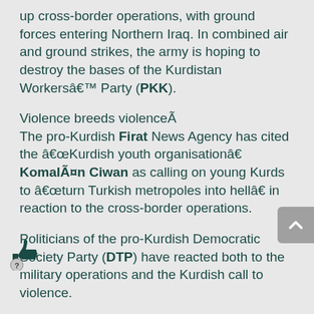up cross-border operations, with ground forces entering Northern Iraq. In combined air and ground strikes, the army is hoping to destroy the bases of the Kurdistan Workers' Party (PKK).
Violence breeds violence
The pro-Kurdish Firat News Agency has cited the "Kurdish youth organisation" Komalan Ciwan as calling on young Kurds to "turn Turkish metropoles into hell" in reaction to the cross-border operations.
Politicians of the pro-Kurdish Democratic Society Party (DTP) have reacted both to the military operations and the Kurdish call to violence.
Osman Özcelik, DTP MP for Siirt in the southeast of Turkey, said:
"We find it wrong to bring violence to the cities after these operations. There is such a danger, and